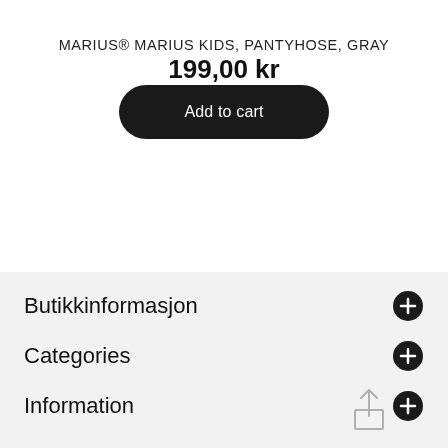MARIUS® MARIUS KIDS, PANTYHOSE, GRAY
199,00 kr
Add to cart
Butikkinformasjon
Categories
Information